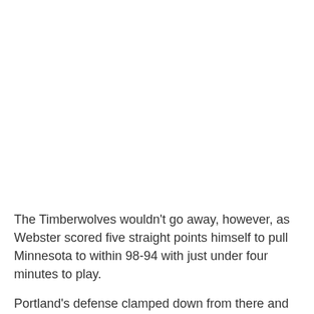The Timberwolves wouldn't go away, however, as Webster scored five straight points himself to pull Minnesota to within 98-94 with just under four minutes to play.
Portland's defense clamped down from there and held